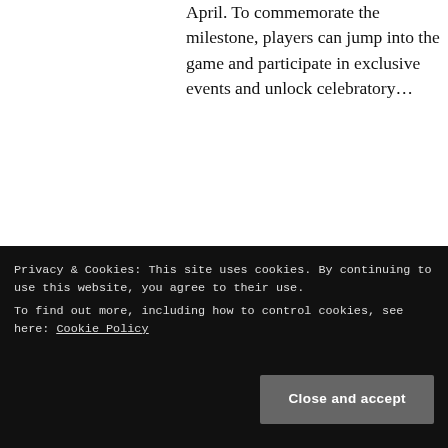April. To commemorate the milestone, players can jump into the game and participate in exclusive events and unlock celebratory…
Keep reading
by Ricardo C.   September 1, 2022
[Figure (photo): Card game box with illustrated cards showing a warrior figure and text cards]
'VOICE OF CARDS: THE BEASTS OF BURDEN' DROPS SEPTEMBER 13!
Privacy & Cookies: This site uses cookies. By continuing to use this website, you agree to their use.
To find out more, including how to control cookies, see here: Cookie Policy
Close and accept
all-new title and third addition to